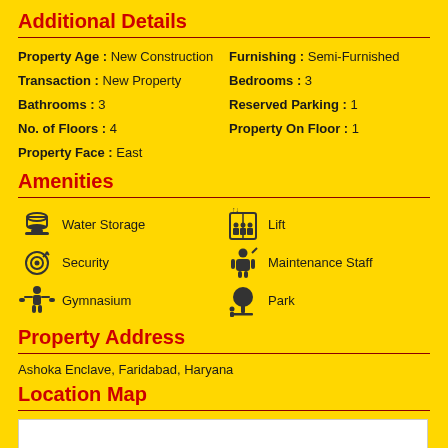Additional Details
Property Age : New Construction | Furnishing : Semi-Furnished | Transaction : New Property | Bedrooms : 3 | Bathrooms : 3 | Reserved Parking : 1 | No. of Floors : 4 | Property On Floor : 1 | Property Face : East
Amenities
Water Storage
Lift
Security
Maintenance Staff
Gymnasium
Park
Property Address
Ashoka Enclave, Faridabad, Haryana
Location Map
[Figure (map): Location map image area (white box)]